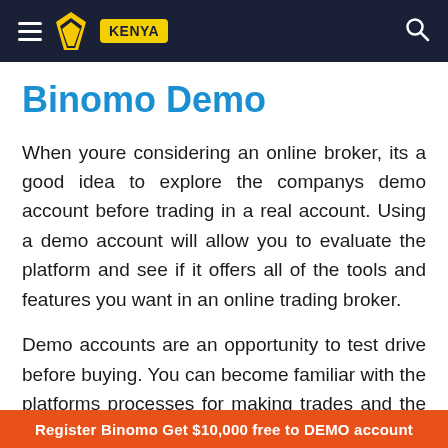Binomo Kenya
Binomo Demo
When youre considering an online broker, its a good idea to explore the companys demo account before trading in a real account. Using a demo account will allow you to evaluate the platform and see if it offers all of the tools and features you want in an online trading broker.
Demo accounts are an opportunity to test drive before buying. You can become familiar with the platforms processes for making trades and the layout of the user interface. A good broker will
Register Binomo Get $10,000 free to DEMO account